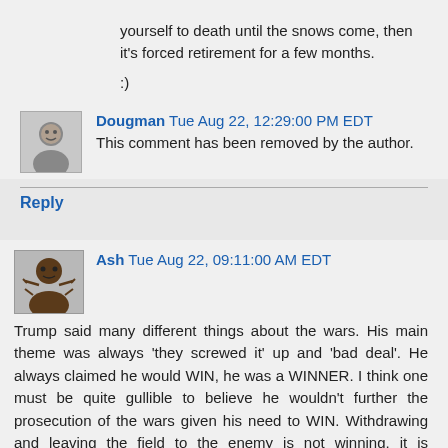yourself to death until the snows come, then it's forced retirement for a few months.
:)
Dougman Tue Aug 22, 12:29:00 PM EDT
This comment has been removed by the author.
Reply
Ash Tue Aug 22, 09:11:00 AM EDT
Trump said many different things about the wars. His main theme was always 'they screwed it' up and 'bad deal'. He always claimed he would WIN, he was a WINNER. I think one must be quite gullible to believe he wouldn't further the prosecution of the wars given his need to WIN. Withdrawing and leaving the field to the enemy is not winning, it is admitting defeat. He will never do that.